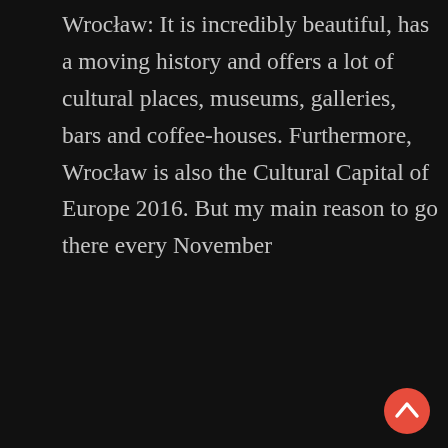Wrocław: It is incredibly beautiful, has a moving history and offers a lot of cultural places, museums, galleries, bars and coffee-houses. Furthermore, Wrocław is also the Cultural Capital of Europe 2016. But my main reason to go there every November
CONTINUE READING...
[Figure (photo): Black and white photograph showing the entrance of a grand building with ornate architectural details, columns, and decorative door. Two people are standing in front of the entrance.]